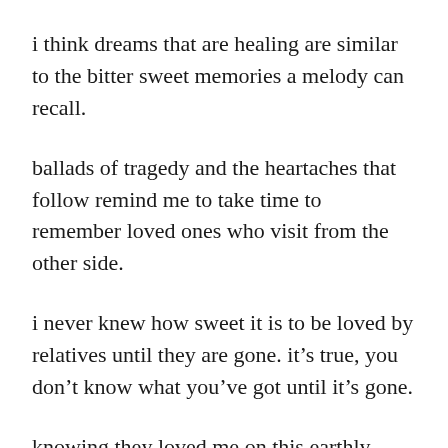i think dreams that are healing are similar to the bitter sweet memories a melody can recall.
ballads of tragedy and the heartaches that follow remind me to take time to remember loved ones who visit from the other side.
i never knew how sweet it is to be loved by relatives until they are gone. it’s true, you don’t know what you’ve got until it’s gone.
knowing they loved me on this earthly plane and continues from beyond provides a semblance of hope. they still guide me from up above the world so high and